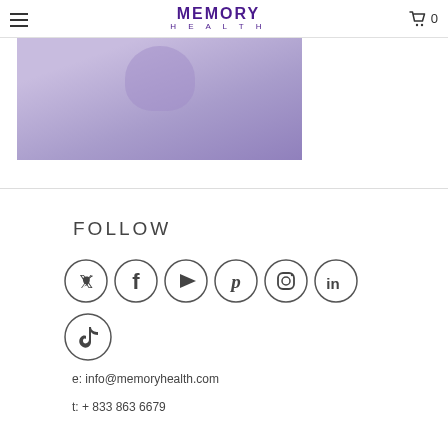MEMORY HEALTH
[Figure (photo): Purple-toned hero image with a person's head/hair visible, set against a soft violet-purple background]
FOLLOW
[Figure (illustration): Social media icons in circles: Twitter, Facebook, YouTube, Pinterest, Instagram, LinkedIn, TikTok]
e: info@memoryhealth.com
t: + 833 863 6679